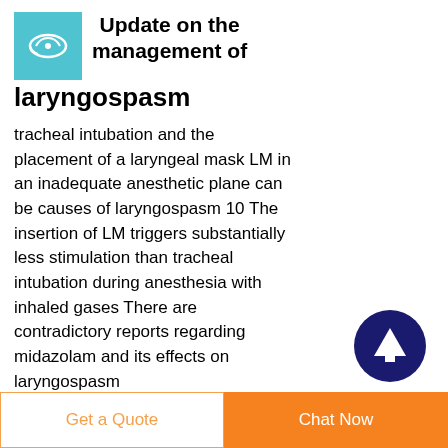[Figure (logo): Light blue square logo with a medical/airway illustration icon]
Update on the management of laryngospasm
tracheal intubation and the placement of a laryngeal mask LM in an inadequate anesthetic plane can be causes of laryngospasm 10 The insertion of LM triggers substantially less stimulation than tracheal intubation during anesthesia with inhaled gases There are contradictory reports regarding midazolam and its effects on laryngospasm
[Figure (other): Dark navy blue circle with a white upward arrow icon — scroll to top button]
Get a Quote
Chat Now